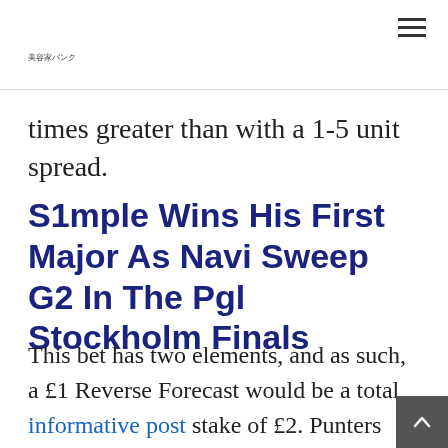美容家バンク (site logo/header with hamburger menu)
times greater than with a 1-5 unit spread.
S1mple Wins His First Major As Navi Sweep G2 In The Pgl Stockholm Finals
This bet has two elements, and as such, a £1 Reverse Forecast would be a total informative post stake of £2. Punters could also choose a bet type which gives them the opportunity of a large pay out from a win bet and the security of a pla